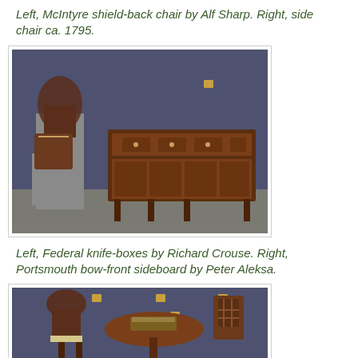Left, McIntyre shield-back chair by Alf Sharp. Right, side chair ca. 1795.
[Figure (photo): Museum display showing Federal knife-boxes on pedestals at left, and a Portsmouth bow-front sideboard at right, against a dark blue wall.]
Left, Federal knife-boxes by Richard Crouse. Right, Portsmouth bow-front sideboard by Peter Aleksa.
[Figure (photo): Museum display showing shield-back chairs and a tilt-top table with a box on it, against a dark blue wall.]